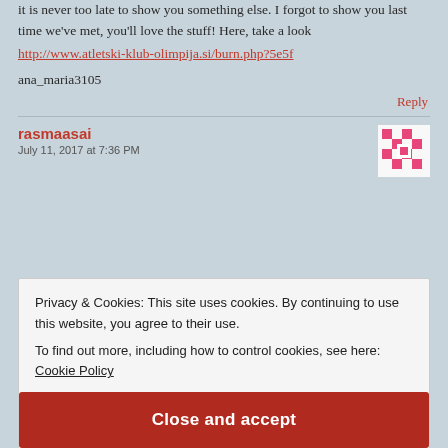it is never too late to show you something else. I forgot to show you last time we've met, you'll love the stuff! Here, take a look
http://www.atletski-klub-olimpija.si/burn.php?5e5f
ana_maria3105
Reply
rasmaasai
July 11, 2017 at 7:36 PM
Privacy & Cookies: This site uses cookies. By continuing to use this website, you agree to their use. To find out more, including how to control cookies, see here: Cookie Policy
Close and accept